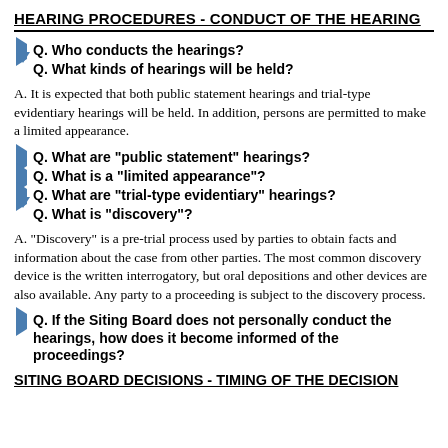HEARING PROCEDURES - CONDUCT OF THE HEARING
Q. Who conducts the hearings?
Q. What kinds of hearings will be held?
A. It is expected that both public statement hearings and trial-type evidentiary hearings will be held. In addition, persons are permitted to make a limited appearance.
Q. What are "public statement" hearings?
Q. What is a "limited appearance"?
Q. What are "trial-type evidentiary" hearings?
Q. What is "discovery"?
A. "Discovery" is a pre-trial process used by parties to obtain facts and information about the case from other parties. The most common discovery device is the written interrogatory, but oral depositions and other devices are also available. Any party to a proceeding is subject to the discovery process.
Q. If the Siting Board does not personally conduct the hearings, how does it become informed of the proceedings?
SITING BOARD DECISIONS - TIMING OF THE DECISION